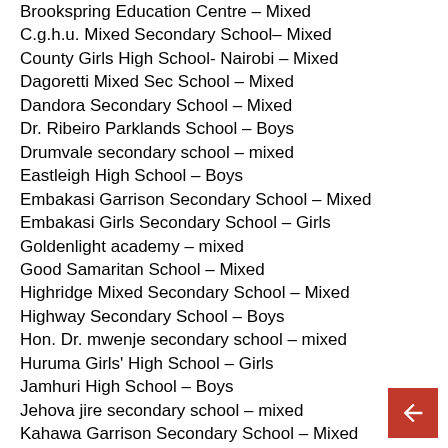Brookspring Education Centre – Mixed
C.g.h.u. Mixed Secondary School– Mixed
County Girls High School- Nairobi – Mixed
Dagoretti Mixed Sec School – Mixed
Dandora Secondary School – Mixed
Dr. Ribeiro Parklands School – Boys
Drumvale secondary school – mixed
Eastleigh High School – Boys
Embakasi Garrison Secondary School – Mixed
Embakasi Girls Secondary School – Girls
Goldenlight academy – mixed
Good Samaritan School – Mixed
Highridge Mixed Secondary School – Mixed
Highway Secondary School – Boys
Hon. Dr. mwenje secondary school – mixed
Huruma Girls' High School – Girls
Jamhuri High School – Boys
Jehova jire secondary school – mixed
Kahawa Garrison Secondary School – Mixed
Kamiti Secondary School – Mixed
Kamukunji Secondary School – Mixed